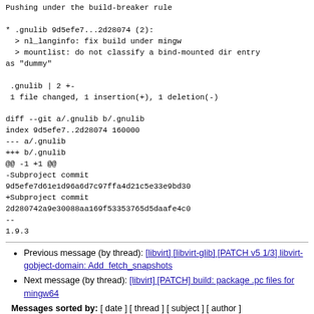Pushing under the build-breaker rule

* .gnulib 9d5efe7...2d28074 (2):
  > nl_langinfo: fix build under mingw
  > mountlist: do not classify a bind-mounted dir entry as "dummy"

 .gnulib | 2 +-
 1 file changed, 1 insertion(+), 1 deletion(-)

diff --git a/.gnulib b/.gnulib
index 9d5efe7..2d28074 160000
--- a/.gnulib
+++ b/.gnulib
@@ -1 +1 @@
-Subproject commit 9d5efe7d61e1d96a6d7c97ffa4d21c5e33e9bd30
+Subproject commit 2d280742a9e30088aa169f53353765d5daafe4c0
--
1.9.3
Previous message (by thread): [libvirt] [libvirt-glib] [PATCH v5 1/3] libvirt-gobject-domain: Add  fetch_snapshots
Next message (by thread): [libvirt] [PATCH] build: package .pc files for mingw64
Messages sorted by: [ date ] [ thread ] [ subject ] [ author ]